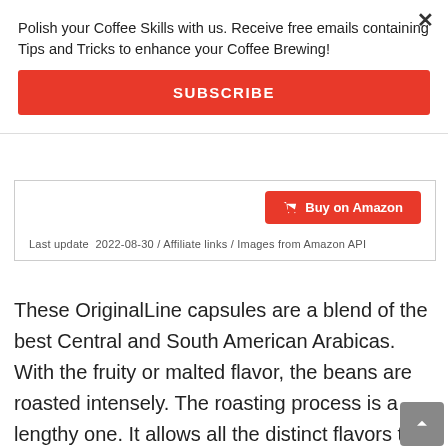Polish your Coffee Skills with us. Receive free emails containing Tips and Tricks to enhance your Coffee Brewing!
SUBSCRIBE
Buy on Amazon
Last update  2022-08-30 / Affiliate links / Images from Amazon API
These OriginalLine capsules are a blend of the best Central and South American Arabicas. With the fruity or malted flavor, the beans are roasted intensely. The roasting process is a lengthy one. It allows all the distinct flavors to emerge properly. Therefore, you can feel the best flavor coming out which is similar to Costa Rican coffee.